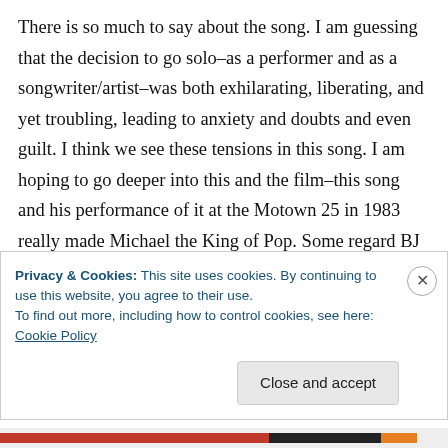There is so much to say about the song. I am guessing that the decision to go solo–as a performer and as a songwriter/artist–was both exhilarating, liberating, and yet troubling, leading to anxiety and doubts and even guilt. I think we see these tensions in this song. I am hoping to go deeper into this and the film–this song and his performance of it at the Motown 25 in 1983 really made Michael the King of Pop. Some regard BJ as his best song.
Privacy & Cookies: This site uses cookies. By continuing to use this website, you agree to their use.
To find out more, including how to control cookies, see here: Cookie Policy
Close and accept